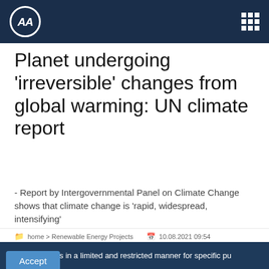AA (Anadolu Agency) logo and navigation
Planet undergoing 'irreversible' changes from global warming: UN climate report
- Report by Intergovernmental Panel on Climate Change shows that climate change is 'rapid, widespread, intensifying'
home > Renewable Energy Projects   10.08.2021 09:54
We use cookies in a limited and restricted manner for specific pu
Accept